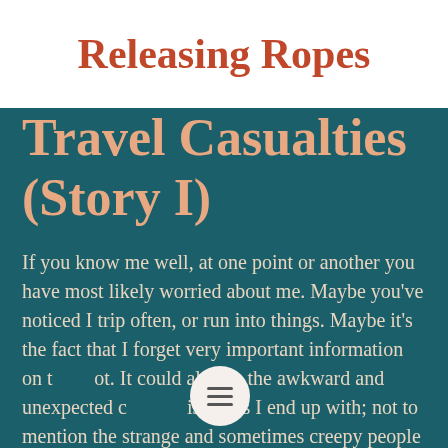Releasing Ropes
Travel Casualties (Story I)
If you know me well, at one point or another you have most likely worried about me. Maybe you've noticed I trip often, or run into things. Maybe it's the fact that I forget very important information on the spot. It could also be the awkward and unexpected circumstances I end up with; not to mention the strange and sometimes creepy people I encounter almost daily. I believe that most of the time,